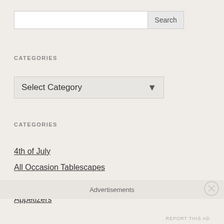[Figure (other): Search input field with Search button]
CATEGORIES
[Figure (other): Select Category dropdown menu]
CATEGORIES
4th of July
All Occasion Tablescapes
Announcements and News...
Appetizers
Advertisements
REPORT THIS AD